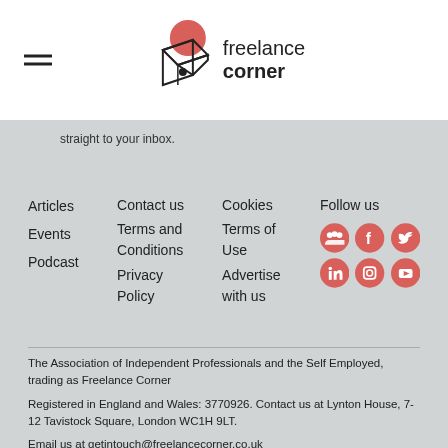[Figure (logo): Freelance Corner logo with geometric cube and pink circle, text 'freelance corner']
straight to your inbox.
Articles
Events
Podcast
Contact us
Terms and Conditions
Privacy Policy
Cookies
Terms of Use
Advertise with us
Follow us
The Association of Independent Professionals and the Self Employed, trading as Freelance Corner
Registered in England and Wales: 3770926. Contact us at Lynton House, 7-12 Tavistock Square, London WC1H 9LT.
Email us at getintouch@freelancecorner.co.uk